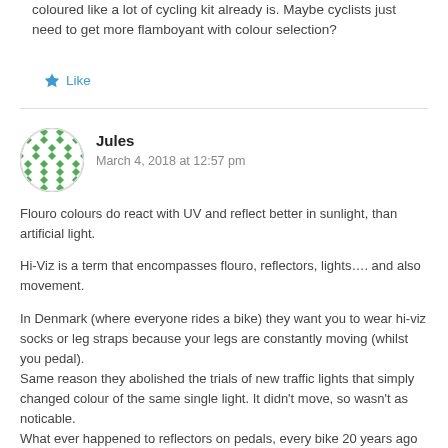coloured like a lot of cycling kit already is. Maybe cyclists just need to get more flamboyant with colour selection?
Like
Jules
March 4, 2018 at 12:57 pm
Flouro colours do react with UV and reflect better in sunlight, than artificial light.

Hi-Viz is a term that encompasses flouro, reflectors, lights.... and also movement.

In Denmark (where everyone rides a bike) they want you to wear hi-viz socks or leg straps because your legs are constantly moving (whilst you pedal).
Same reason they abolished the trials of new traffic lights that simply changed colour of the same single light. It didn't move, so wasn't as noticable.
What ever happened to reflectors on pedals, every bike 20 years ago had them!